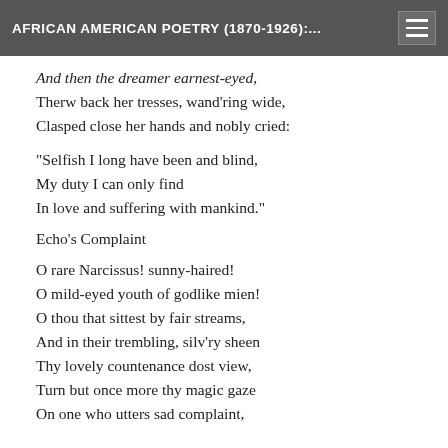AFRICAN AMERICAN POETRY (1870-1926):...
And then the dreamer earnest-eyed,
Therw back her tresses, wand'ring wide,
Clasped close her hands and nobly cried:
"Selfish I long have been and blind,
My duty I can only find
In love and suffering with mankind."
Echo's Complaint
O rare Narcissus! sunny-haired!
O mild-eyed youth of godlike mien!
O thou that sittest by fair streams,
And in their trembling, silv'ry sheen
Thy lovely countenance dost view,
Turn but once more thy magic gaze
On one who utters sad complaint,